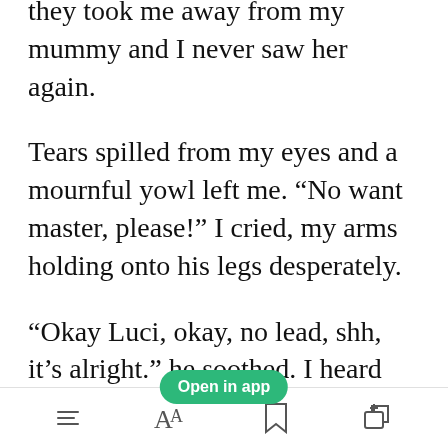they took me away from my mummy and I never saw her again.
Tears spilled from my eyes and a mournful yowl left me. “No want master, please!” I cried, my arms holding onto his legs desperately.
“Okay Luci, okay, no lead, shh, it’s alright.” he soothed. I heard him unclin the lead and unbuckle my
[Figure (screenshot): Green 'Open in app' button overlay on text]
Toolbar with menu, font size, bookmark, and share icons